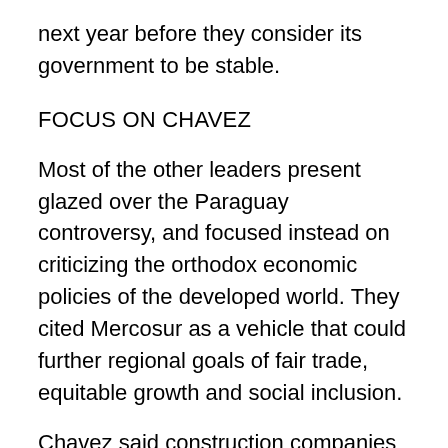next year before they consider its government to be stable.
FOCUS ON CHAVEZ
Most of the other leaders present glazed over the Paraguay controversy, and focused instead on criticizing the orthodox economic policies of the developed world. They cited Mercosur as a vehicle that could further regional goals of fair trade, equitable growth and social inclusion.
Chavez said construction companies from Mercosur countries should take part in ongoing projects to build millions of subsidized homes in Venezuela. Argentine President Cristina Fernandez said the region would continue to produce all-important raw materials for the